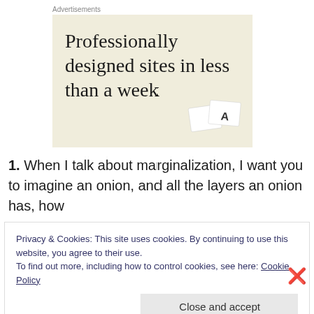Advertisements
[Figure (illustration): Advertisement banner with beige/cream background showing text 'Professionally designed sites in less than a week' with decorative card elements in the bottom right corner]
1.  When I talk about marginalization, I want you to imagine an onion, and all the layers an onion has, how
Privacy & Cookies: This site uses cookies. By continuing to use this website, you agree to their use.
To find out more, including how to control cookies, see here: Cookie Policy
Close and accept